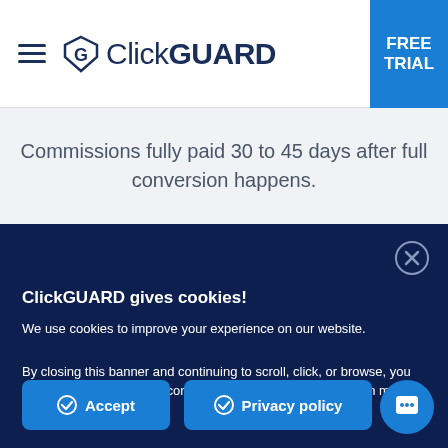ClickGUARD | FREE TRIAL
Commissions fully paid 30 to 45 days after full conversion happens.
ClickGUARD gives cookies!
We use cookies to improve your experience on our website.
By closing this banner and continuing to scroll, click, or browse, you are accepting and giving consent to the use of cookies. Learn more: cookie policy.
Accept
Privacy policy